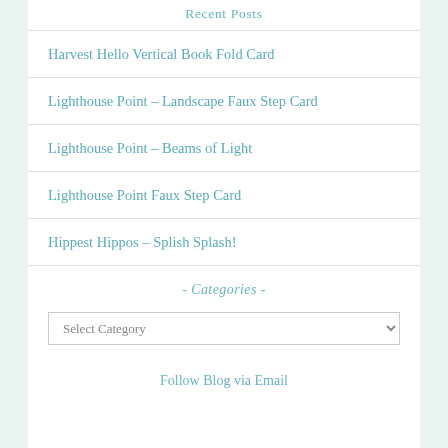Recent Posts
Harvest Hello Vertical Book Fold Card
Lighthouse Point – Landscape Faux Step Card
Lighthouse Point – Beams of Light
Lighthouse Point Faux Step Card
Hippest Hippos – Splish Splash!
- Categories -
Select Category
Follow Blog via Email